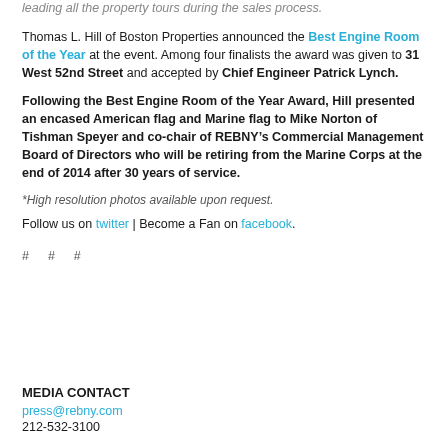leading all the property tours during the sales process.
Thomas L. Hill of Boston Properties announced the Best Engine Room of the Year at the event. Among four finalists the award was given to 31 West 52nd Street and accepted by Chief Engineer Patrick Lynch.
Following the Best Engine Room of the Year Award, Hill presented an encased American flag and Marine flag to Mike Norton of Tishman Speyer and co-chair of REBNY’s Commercial Management Board of Directors who will be retiring from the Marine Corps at the end of 2014 after 30 years of service.
*High resolution photos available upon request.
Follow us on twitter | Become a Fan on facebook.
# # #
MEDIA CONTACT
press@rebny.com
212-532-3100